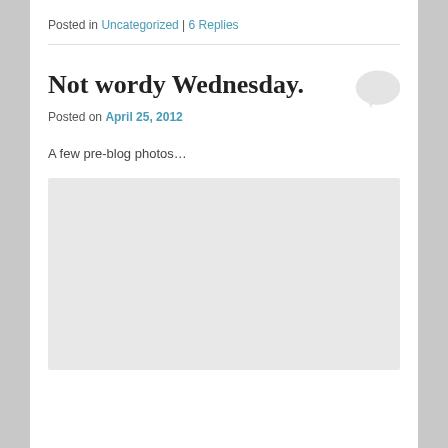Posted in Uncategorized | 6 Replies
Not wordy Wednesday.
Posted on April 25, 2012
A few pre-blog photos…
[Figure (photo): A light gray placeholder rectangle representing a photo]